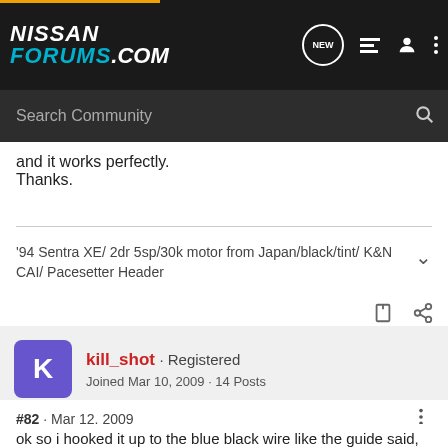NISSAN FORUMS.COM
and it works perfectly.
Thanks.
'94 Sentra XE/ 2dr 5sp/30k motor from Japan/black/tint/ K&N CAI/ Pacesetter Header
kill_shot · Registered
Joined Mar 10, 2009 · 14 Posts
#82 · Mar 12, 2009
ok so i hooked it up to the blue black wire like the guide said,